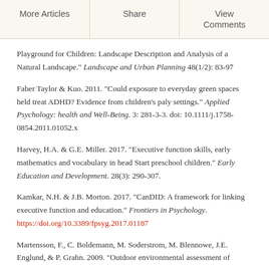More Articles | Share | View Comments
Playground for Children: Landscape Description and Analysis of a Natural Landscape.” Landscape and Urban Planning 48(1/2): 83-97
Faber Taylor & Kuo. 2011. “Could exposure to everyday green spaces held treat ADHD? Evidence from children’s paly settings.” Applied Psychology: health and Well-Being. 3: 281-3-3. doi: 10.1111/j.1758-0854.2011.01052.x
Harvey, H.A. & G.E. Miller. 2017. “Executive function skills, early mathematics and vocabulary in head Start preschool children.” Early Education and Development. 28(3): 290-307.
Kamkar, N.H. & J.B. Morton. 2017. “CanDID: A framework for linking executive function and education.” Frontiers in Psychology. https://doi.org/10.3389/fpsyg.2017.01187
Martensson, F., C. Boldemann, M. Soderstrom, M. Blennowe, J.E. Englund, & P. Grahn. 2009. “Outdoor environmental assessment of